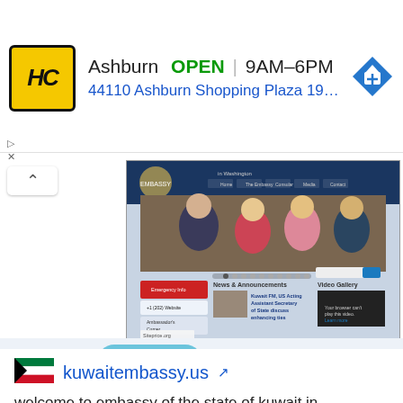[Figure (screenshot): Ad banner for HC store in Ashburn showing logo, open status, hours 9AM-6PM, address, and navigation arrow icon]
[Figure (screenshot): Screenshot of kuwaitembassy.us website showing navigation bar, photo of people, news section with Kuwait FM article, and siteprice.org watermark]
[Figure (other): Like button showing heart icon with count 0, and Scroll Top link]
[Figure (other): Kuwait flag icon]
kuwaitembassy.us
welcome to embassy of the state of kuwait in washington | embassy of the state of kuwait in washington